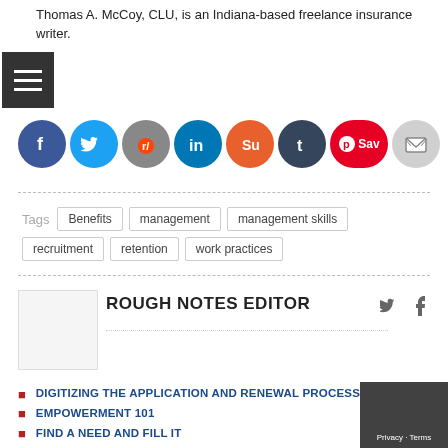Thomas A. McCoy, CLU, is an Indiana-based freelance insurance writer.
[Figure (infographic): Row of social media sharing icons: Facebook, Twitter, Reddit, LinkedIn, StumbleUpon, Tumblr, Pinterest Save, Email]
Tags  Benefits  management  management skills  recruitment  retention  work practices
ROUGH NOTES EDITOR
DIGITIZING THE APPLICATION AND RENEWAL PROCESS
EMPOWERMENT 101
FIND A NEED AND FILL IT